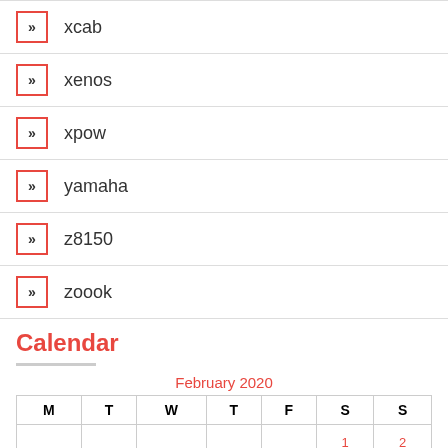xcab
xenos
xpow
yamaha
z8150
zoook
Calendar
| M | T | W | T | F | S | S |
| --- | --- | --- | --- | --- | --- | --- |
|  |  |  |  |  | 1 | 2 |